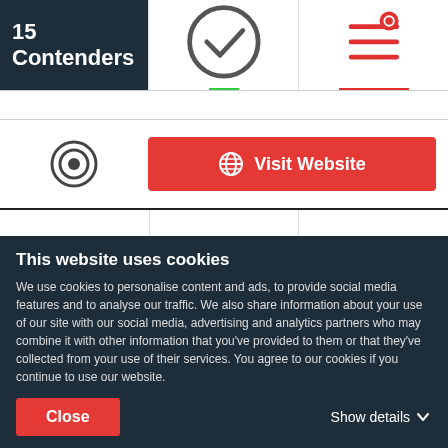15 Contenders
[Figure (screenshot): Navigation bar with checkmark icon (green underline) and filter/settings icon (red underline)]
[Figure (screenshot): Cookiebot logo icon (C in circle) on left, red 'Visit Website' button with globe icon on right]
[Figure (logo): thelb - Lifestyling Brand logo: purple square with white 'lb' letters in a circle]
thelb - Lifestyling Brand
This website uses cookies
We use cookies to personalise content and ads, to provide social media features and to analyse our traffic. We also share information about your use of our site with our social media, advertising and analytics partners who may combine it with other information that you've provided to them or that they've collected from your use of their services. You agree to our cookies if you continue to use our website.
Close
Show details